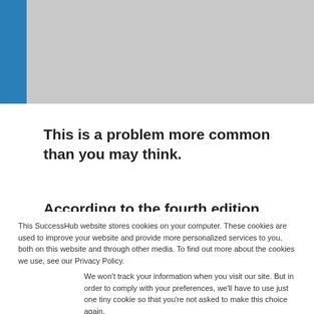[Figure (other): Gray header banner with blue vertical bar on left side]
This is a problem more common than you may think.
According to the fourth edition of the
This SuccessHub website stores cookies on your computer. These cookies are used to improve your website and provide more personalized services to you, both on this website and through other media. To find out more about the cookies we use, see our Privacy Policy.
We won't track your information when you visit our site. But in order to comply with your preferences, we'll have to use just one tiny cookie so that you're not asked to make this choice again.
Accept
Decline